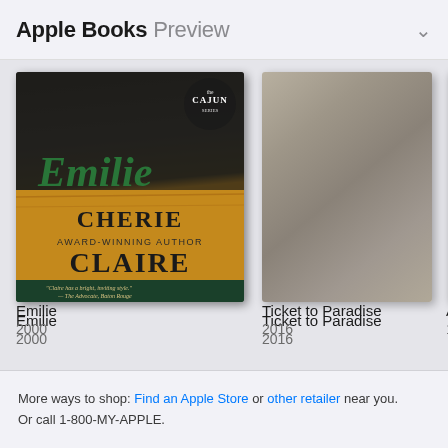Apple Books Preview
[Figure (screenshot): Apple Books Preview page showing book covers in a horizontal scroll row. First book: Emilie by Cherie Claire (2000), part of The Cajun Series, showing a romance cover. Second book: Ticket to Paradise (2016), showing a gray/taupe cover. Third book: partially visible cover (199X).]
Emilie
2000
Ticket to Paradise
2016
A C
199
More ways to shop: Find an Apple Store or other retailer near you.
Or call 1-800-MY-APPLE.